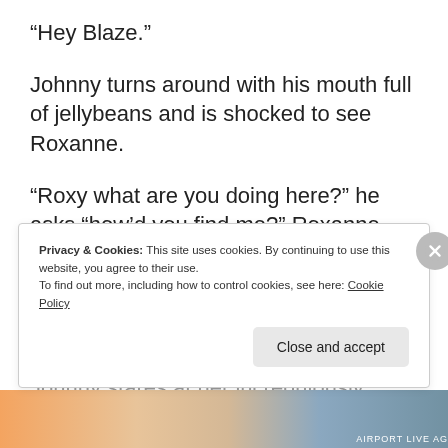“Hey Blaze.”
Johnny turns around with his mouth full of jellybeans and is shocked to see Roxanne.
“Roxy what are you doing here?” he asks “how’d you find me?” Roxanne scoots up to him and runs her hand down his neck.
“I always know where to find you rider.”
Johnny stares at her incredulously.
Privacy & Cookies: This site uses cookies. By continuing to use this website, you agree to their use.
To find out more, including how to control cookies, see here: Cookie Policy
Close and accept